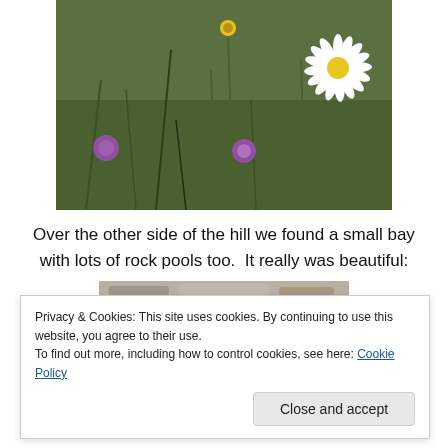[Figure (photo): Wildflower meadow with a white daisy in the foreground and purple and yellow flowers in a green grassy field]
Over the other side of the hill we found a small bay with lots of rock pools too.  It really was beautiful:
[Figure (photo): Rock pool with grey stones visible at top]
Privacy & Cookies: This site uses cookies. By continuing to use this website, you agree to their use.
To find out more, including how to control cookies, see here: Cookie Policy
[Figure (photo): Rock pool photo bottom section]